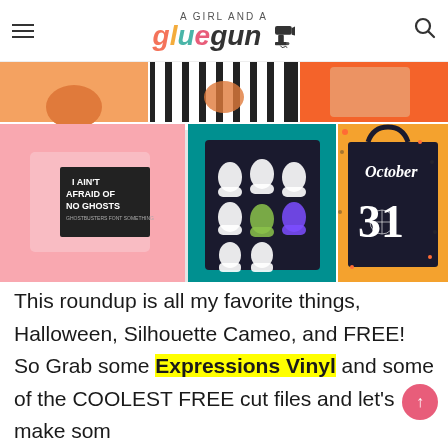A Girl and a Glue Gun
[Figure (photo): Collage of Halloween craft projects: pink t-shirt with 'I Ain't Afraid of No Ghosts', ghost shirt designs on dark fabric, an October 31 tote bag, pumpkins, and various Halloween items]
This roundup is all my favorite things, Halloween, Silhouette Cameo, and FREE! So Grab some Expressions Vinyl and some of the COOLEST FREE cut files and let's make some Halloween projects!